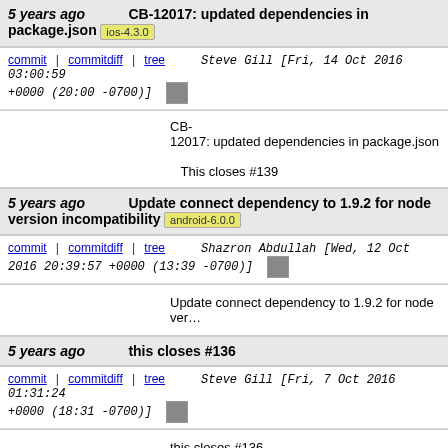5 years ago   CB-12017: updated dependencies in package.json   ios-4.3.0
commit | commitdiff | tree   Steve Gill [Fri, 14 Oct 2016 03:00:59 +0000 (20:00 -0700)]
CB-12017: updated dependencies in package.json

This closes #139
5 years ago   Update connect dependency to 1.9.2 for node version incompatibility   android-6.0.0
commit | commitdiff | tree   Shazron Abdullah [Wed, 12 Oct 2016 20:39:57 +0000 (13:39 -0700)]
Update connect dependency to 1.9.2 for node ver...
5 years ago   this closes #136
commit | commitdiff | tree   Steve Gill [Fri, 7 Oct 2016 01:31:24 +0000 (18:31 -0700)]
this closes #136
5 years ago   Fix CB-3785